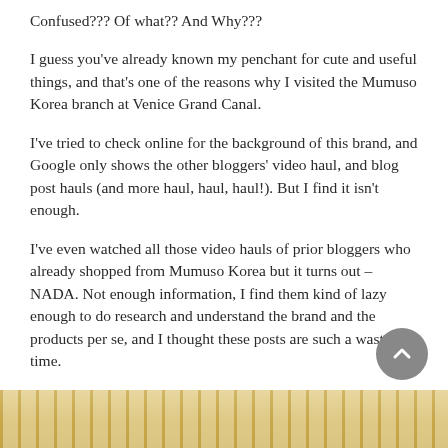Confused??? Of what?? And Why???
I guess you’ve already known my penchant for cute and useful things, and that’s one of the reasons why I visited the Mumuso Korea branch at Venice Grand Canal.
I’ve tried to check online for the background of this brand, and Google only shows the other bloggers' video haul, and blog post hauls (and more haul, haul, haul!). But I find it isn’t enough.
I’ve even watched all those video hauls of prior bloggers who already shopped from Mumuso Korea but it turns out – NADA. Not enough information, I find them kind of lazy enough to do research and understand the brand and the products per se, and I thought these posts are such a waste of time.
So using my creative and diligent digging – I will explain to you some things that I’ve got about this brand.
[Figure (photo): Bottom portion of a wooden/bamboo striped surface or shelf, partial image at the bottom of the page]